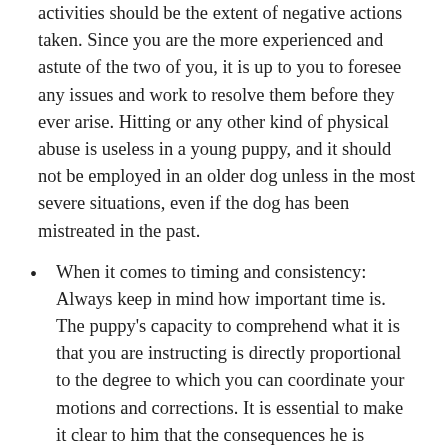activities should be the extent of negative actions taken. Since you are the more experienced and astute of the two of you, it is up to you to foresee any issues and work to resolve them before they ever arise. Hitting or any other kind of physical abuse is useless in a young puppy, and it should not be employed in an older dog unless in the most severe situations, even if the dog has been mistreated in the past.
When it comes to timing and consistency: Always keep in mind how important time is. The puppy's capacity to comprehend what it is that you are instructing is directly proportional to the degree to which you can coordinate your motions and corrections. It is essential to make it clear to him that the consequences he is experiencing are a direct result of his actions and that these consequences will not occur if he complies with your commands. For instance, if you were giving...